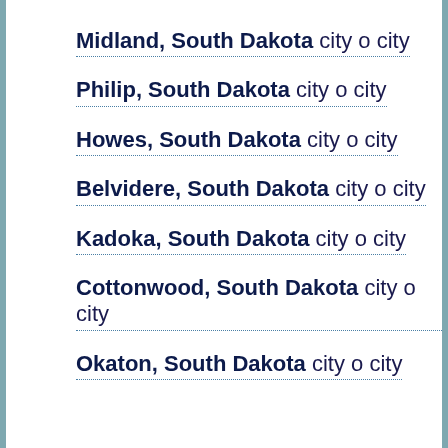Midland, South Dakota city o city
Philip, South Dakota city o city
Howes, South Dakota city o city
Belvidere, South Dakota city o city
Kadoka, South Dakota city o city
Cottonwood, South Dakota city o city
Okaton, South Dakota city o city